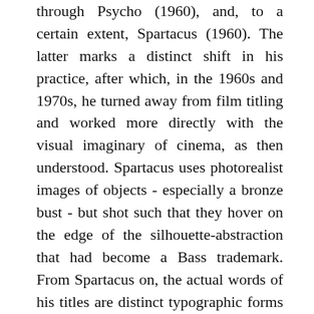through Psycho (1960), and, to a certain extent, Spartacus (1960). The latter marks a distinct shift in his practice, after which, in the 1960s and 1970s, he turned away from film titling and worked more directly with the visual imaginary of cinema, as then understood. Spartacus uses photorealist images of objects - especially a bronze bust - but shot such that they hover on the edge of the silhouette-abstraction that had become a Bass trademark. From Spartacus on, the actual words of his titles are distinct typographic forms floating over or through the visual imaginary that they caption. In Spartacus, a letter-edge might still have caught on the edge of a silhouette. By contrast, none of the words in the titles for